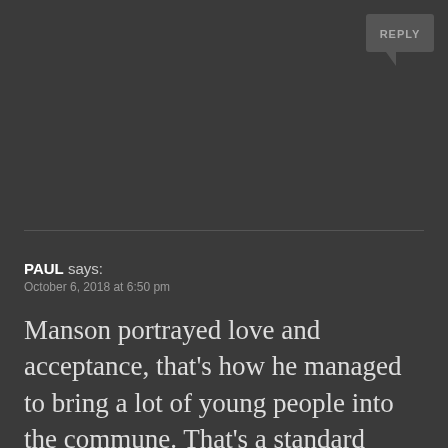[Figure (other): Reply button speech bubble icon in top right corner]
PAUL says:
October 6, 2018 at 6:50 pm
Manson portrayed love and acceptance, that's how he managed to bring a lot of young people into the commune. That's a standard story for relationships, a man portrays himself like a good law-abiding gentleman